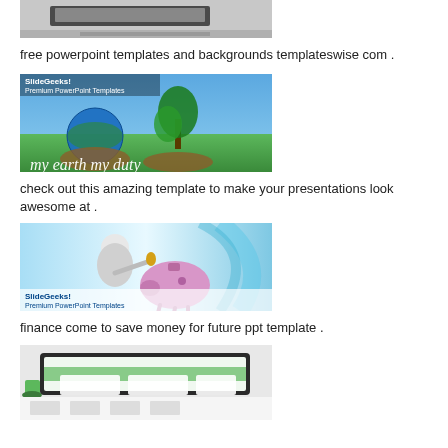[Figure (photo): Laptop and notebook on desk - PowerPoint templates thumbnail]
free powerpoint templates and backgrounds templateswise com .
[Figure (photo): SlideGeeks Premium PowerPoint Templates - my earth my duty themed slide with globe and plant]
check out this amazing template to make your presentations look awesome at .
[Figure (photo): SlideGeeks Premium PowerPoint Templates - Finance save money piggy bank slide]
finance come to save money for future ppt template .
[Figure (photo): Green nature PowerPoint template thumbnail with tablet display]